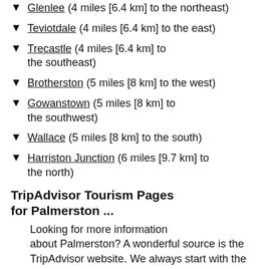▼ Glenlee (4 miles [6.4 km] to the northeast)
▼ Teviotdale (4 miles [6.4 km] to the east)
▼ Trecastle (4 miles [6.4 km] to the southeast)
▼ Brotherston (5 miles [8 km] to the west)
▼ Gowanstown (5 miles [8 km] to the southwest)
▼ Wallace (5 miles [8 km] to the south)
▼ Harriston Junction (6 miles [9.7 km] to the north)
TripAdvisor Tourism Pages for Palmerston ...
Looking for more information about Palmerston? A wonderful source is the TripAdvisor website. We always start with the